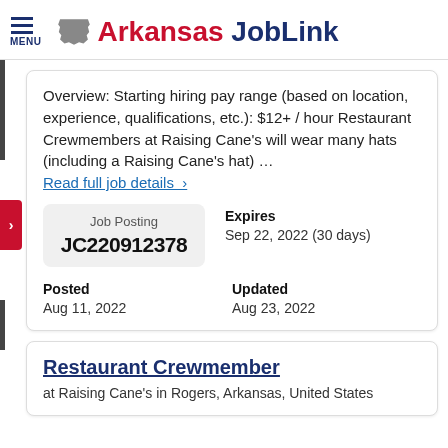MENU | Arkansas JobLink
Overview: Starting hiring pay range (based on location, experience, qualifications, etc.): $12+ / hour Restaurant Crewmembers at Raising Cane's will wear many hats (including a Raising Cane's hat) … Read full job details >
Job Posting JC220912378
Expires Sep 22, 2022 (30 days)
Posted Aug 11, 2022
Updated Aug 23, 2022
Restaurant Crewmember at Raising Cane's in Rogers, Arkansas, United States